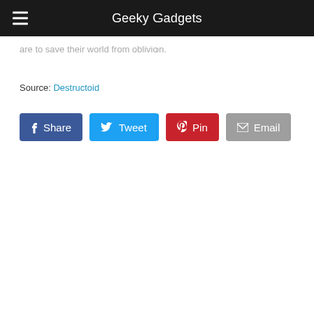Geeky Gadgets
are to save their world from oblivion.
Source: Destructoid
[Figure (other): Social share buttons: Share (Facebook), Tweet (Twitter), Pin (Pinterest), Email]